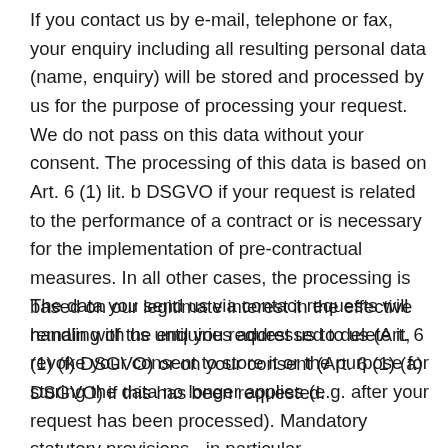If you contact us by e-mail, telephone or fax, your enquiry including all resulting personal data (name, enquiry) will be stored and processed by us for the purpose of processing your request. We do not pass on this data without your consent. The processing of this data is based on Art. 6 (1) lit. b DSGVO if your request is related to the performance of a contract or is necessary for the implementation of pre-contractual measures. In all other cases, the processing is based on our legitimate interest in the effective handling of the enquiries addressed to us (Art. 6 (1) (f) DSGVO) or on your consent (Art. 6 (1) (a) DSGVO) if this has been requested.
The data you send us via contact requests will remain with us until you request us to delete it, revoke your consent to store it or the purpose for storing the data no longer applies (e.g. after your request has been processed). Mandatory statutory provisions - in particular